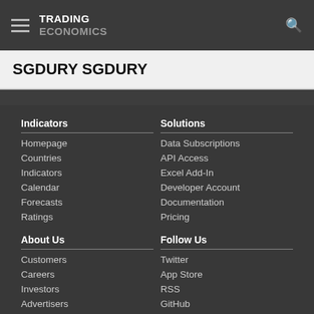TRADING ECONOMICS
SGDURY SGDURY
Indicators
Homepage
Countries
Indicators
Calendar
Forecasts
Ratings
Solutions
Data Subscriptions
API Access
Excel Add-In
Developer Account
Documentation
Pricing
About Us
Customers
Careers
Investors
Advertisers
About us
Follow Us
Twitter
App Store
RSS
GitHub
Privacy